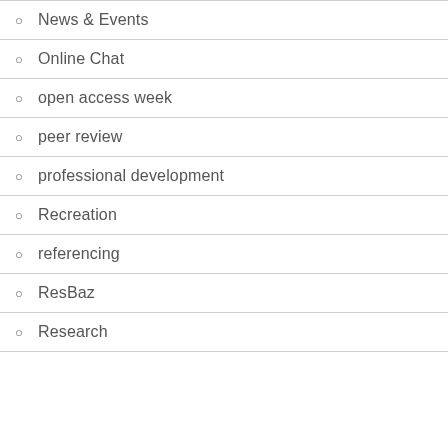News & Events
Online Chat
open access week
peer review
professional development
Recreation
referencing
ResBaz
Research